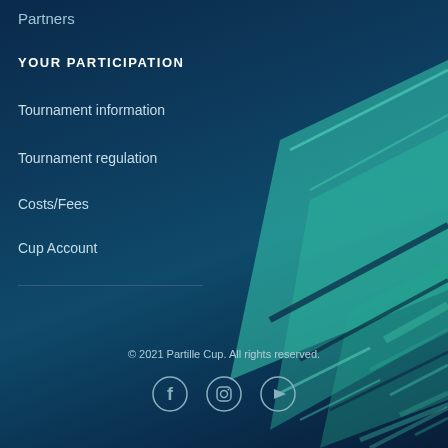Partners
YOUR PARTICIPATION
Tournament information
Tournament regulation
Costs/Fees
Cup Account
[Figure (illustration): Decorative diagonal teal/mint colored stripe lines overlapping on the right side of the page background]
© 2021 Partille Cup. All rights reserved.
[Figure (illustration): Social media icons: Facebook, Instagram, YouTube]